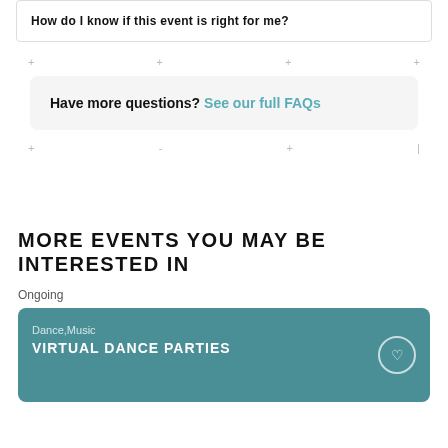How do I know if this event is right for me?
Have more questions? See our full FAQs
MORE EVENTS YOU MAY BE INTERESTED IN
Ongoing
Dance,Music VIRTUAL DANCE PARTIES